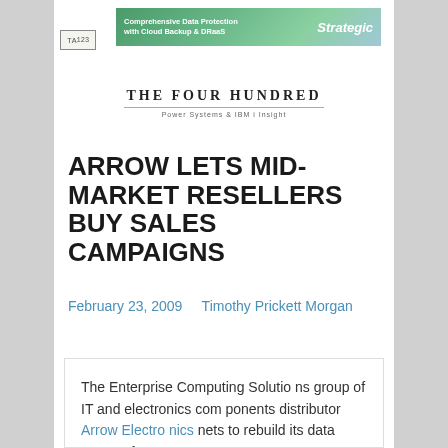[Figure (other): Advertisement banner: 'Comprehensive Data Protection with Cloud Backup & DRaaS' with 'Strategic' brand name on green/teal gradient background]
[Figure (other): Small TA123 badge/logo in a bordered rectangle]
THE FOUR HUNDRED
Power Systems & IBM i Insight
ARROW LETS MID-MARKET RESELLERS BUY SALES CAMPAIGNS
February 23, 2009    Timothy Prickett Morgan
The Enterprise Computing Solutions group of IT and electronics components distributor Arrow Electro nics...